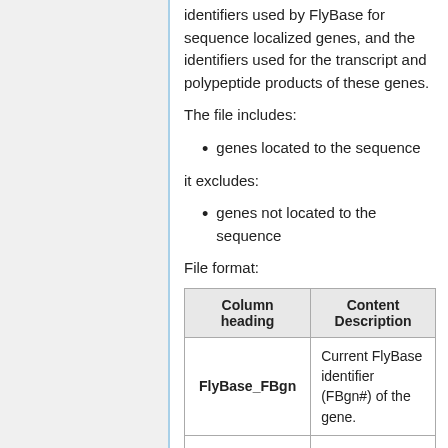identifiers used by FlyBase for sequence localized genes, and the identifiers used for the transcript and polypeptide products of these genes.
The file includes:
genes located to the sequence
it excludes:
genes not located to the sequence
File format:
| Column heading | Content Description |
| --- | --- |
| FlyBase_FBgn | Current FlyBase identifier (FBgn#) of the gene. |
|  | Current FlyBase identifier (FBtr#) of a transcript encoded |